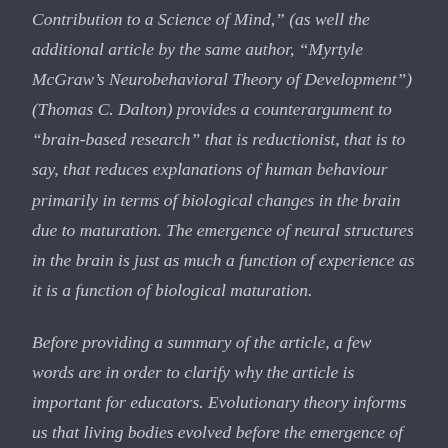Contribution to a Science of Mind," (as well the additional article by the same author, "Myrtyle McGraw's Neurobehavioral Theory of Development") (Thomas C. Dalton) provides a counterargument to "brain-based research" that is reductionist, that is to say, that reduces explanations of human behaviour primarily in terms of biological changes in the brain due to maturation. The emergence of neural structures in the brain is just as much a function of experience as it is a function of biological maturation.
Before providing a summary of the article, a few words are in order to clarify why the article is important for educators. Evolutionary theory informs us that living bodies evolved before the emergence of